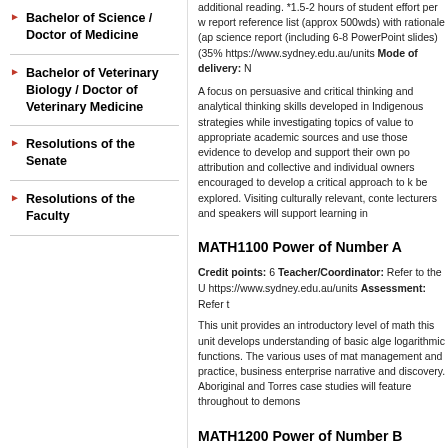Bachelor of Science / Doctor of Medicine
Bachelor of Veterinary Biology / Doctor of Veterinary Medicine
Resolutions of the Senate
Resolutions of the Faculty
additional reading. *1.5-2 hours of student effort per week report reference list (approx 500wds) with rationale (ap science report (including 6-8 PowerPoint slides) (35% https://www.sydney.edu.au/units Mode of delivery: N
A focus on persuasive and critical thinking and analytical thinking skills developed in Indigenous strategies while investigating topics of value to appropriate academic sources and use those evidence to develop and support their own po attribution and collective and individual owners encouraged to develop a critical approach to k be explored. Visiting culturally relevant, conter lecturers and speakers will support learning in
MATH1100 Power of Number A
Credit points: 6 Teacher/Coordinator: Refer to the U https://www.sydney.edu.au/units Assessment: Refer t
This unit provides an introductory level of math this unit develops understanding of basic alge logarithmic functions. The various uses of mat management and practice, business enterprise narrative and discovery. Aboriginal and Torres case studies will feature throughout to demons
MATH1200 Power of Number B
Credit points: 6 Teacher/Coordinator: Refer to the U https://www.sydney.edu.au/units Assessment: Refer t